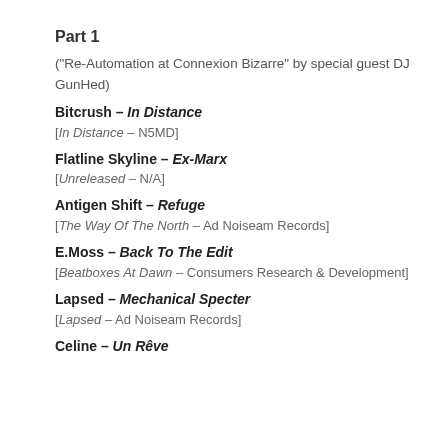Part 1
("Re-Automation at Connexion Bizarre" by special guest DJ GunHed)
Bitcrush – In Distance
[In Distance – N5MD]
Flatline Skyline – Ex-Marx
[Unreleased – N/A]
Antigen Shift – Refuge
[The Way Of The North – Ad Noiseam Records]
E.Moss – Back To The Edit
[Beatboxes At Dawn – Consumers Research & Development]
Lapsed – Mechanical Specter
[Lapsed – Ad Noiseam Records]
Celine – Un Rêve